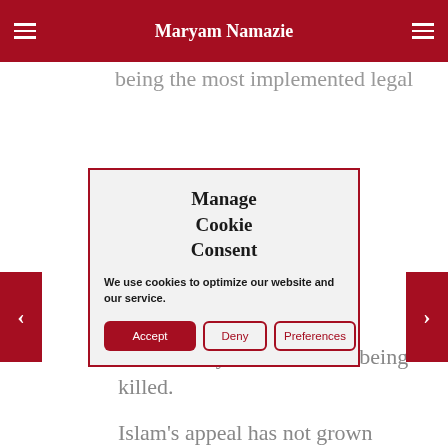Maryam Namazie
being the most implemented legal
Manage Cookie Consent
We use cookies to optimize our website and our service.
Accept
Deny
Preferences
leave if they could without being killed.
Islam's appeal has not grown amongst the general public; in fact